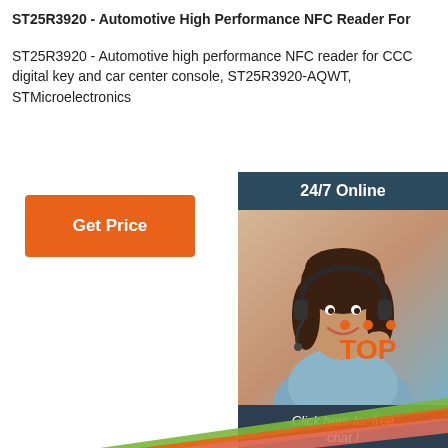ST25R3920 - Automotive High Performance NFC Reader For
ST25R3920 - Automotive high performance NFC reader for CCC digital key and car center console, ST25R3920-AQWT, STMicroelectronics
[Figure (other): Orange 'Get Price' button]
[Figure (other): 24/7 Online customer support widget with photo of woman wearing headset, 'Click here for free chat!' text, and orange QUOTATION button]
[Figure (logo): TOP logo with orange dots arranged in triangle above the word TOP in orange, with diagonal colored stripes (green, orange, red) at bottom right]
[Figure (other): Diagonal colored lines at bottom of page (green, orange, red/salmon)]